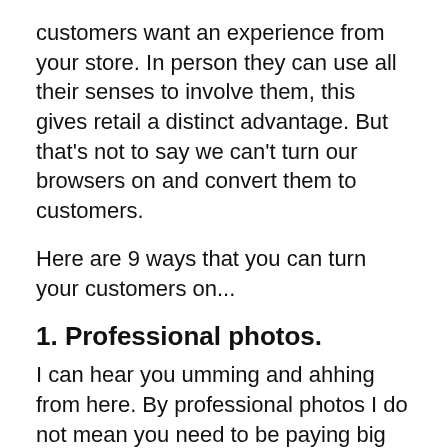customers want an experience from your store. In person they can use all their senses to involve them, this gives retail a distinct advantage. But that's not to say we can't turn our browsers on and convert them to customers.
Here are 9 ways that you can turn your customers on...
1. Professional photos.
I can hear you umming and ahhing from here. By professional photos I do not mean you need to be paying big bucks every time you get new stock. Sure using your distributors photos is a quick way